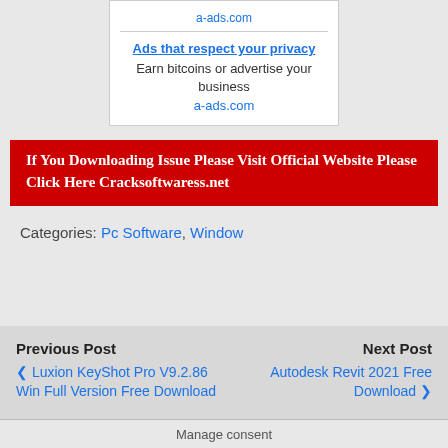[Figure (other): Advertisement box for a-ads.com with link 'Ads that respect your privacy', text 'Earn bitcoins or advertise your business', and domain a-ads.com]
[Figure (other): Red banner with white bold text: 'If You Downloading Issue Please Visit Official Website Please Click Here Cracksoftwaress.net']
Categories: Pc Software, Window
Previous Post ❮ Luxion KeyShot Pro V9.2.86 Win Full Version Free Download
Next Post Autodesk Revit 2021 Free Download ❯
Manage consent